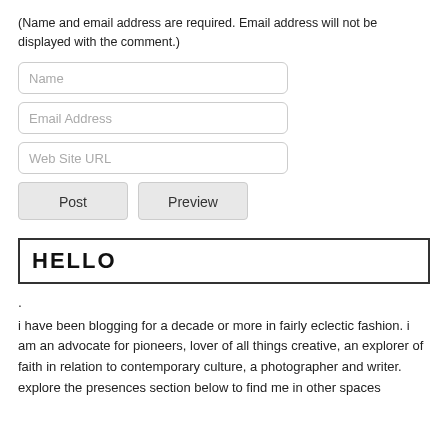(Name and email address are required. Email address will not be displayed with the comment.)
Name
Email Address
Web Site URL
Post | Preview
HELLO
.
i have been blogging for a decade or more in fairly eclectic fashion. i am an advocate for pioneers, lover of all things creative, an explorer of faith in relation to contemporary culture, a photographer and writer. explore the presences section below to find me in other spaces